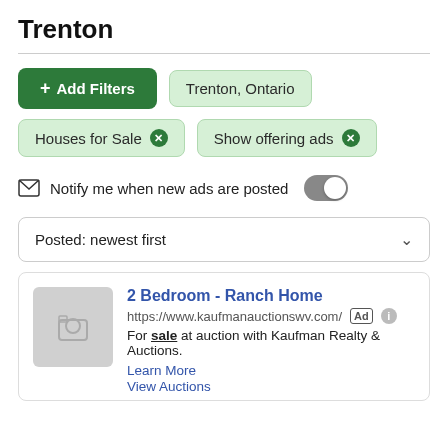Trenton
+ Add Filters   Trenton, Ontario
Houses for Sale ×   Show offering ads ×
Notify me when new ads are posted
Posted: newest first
2 Bedroom - Ranch Home
https://www.kaufmanauctionswv.com/  Ad  ℹ
For sale at auction with Kaufman Realty & Auctions.
Learn More
View Auctions